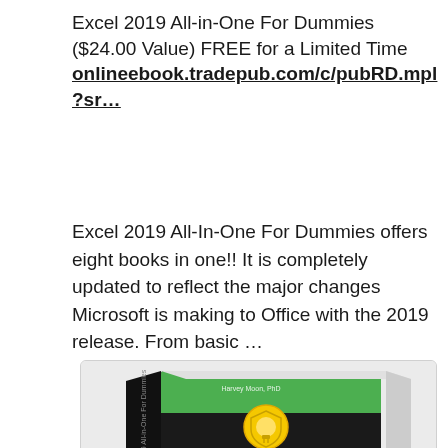Excel 2019 All-in-One For Dummies ($24.00 Value) FREE for a Limited Time onlineebook.tradepub.com/c/pubRD.mpl?sr…
Excel 2019 All-In-One For Dummies offers eight books in one!! It is completely updated to reflect the major changes Microsoft is making to Office with the 2019 release. From basic …
[Figure (photo): Photo of the Excel 2019 All-in-One For Dummies book cover — black cover with green stripe at top, yellow lightbulb shield logo, text 'Excel 2019']